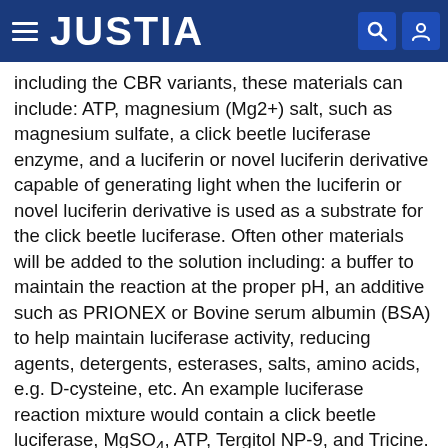JUSTIA
including the CBR variants, these materials can include: ATP, magnesium (Mg2+) salt, such as magnesium sulfate, a click beetle luciferase enzyme, and a luciferin or novel luciferin derivative capable of generating light when the luciferin or novel luciferin derivative is used as a substrate for the click beetle luciferase. Often other materials will be added to the solution including: a buffer to maintain the reaction at the proper pH, an additive such as PRIONEX or Bovine serum albumin (BSA) to help maintain luciferase activity, reducing agents, detergents, esterases, salts, amino acids, e.g. D-cysteine, etc. An example luciferase reaction mixture would contain a click beetle luciferase, MgSO4, ATP, Tergitol NP-9, and Tricine.
A “luciferase detection mixture” contains materials that will allow for the detection of a luciferase enzyme. The materials needed, and the particular concentrations